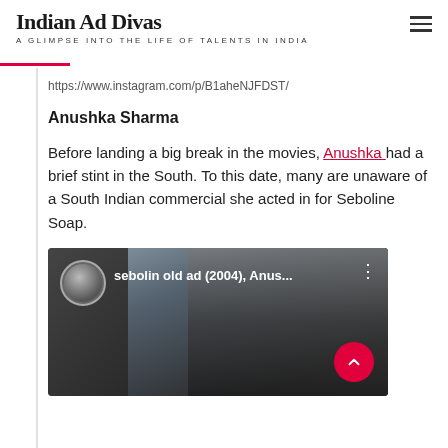Indian Ad Divas — A GLIMPSE INTO THE LIFE OF TALENTS IN INDIA
https://www.instagram.com/p/B1aheNJFDST/
Anushka Sharma
Before landing a big break in the movies, Anushka had a brief stint in the South. To this date, many are unaware of a South Indian commercial she acted in for Seboline Soap.
[Figure (screenshot): Video thumbnail showing 'sebolin old ad (2004), Anus...' with a circular avatar on the left and a woman's face in the background]